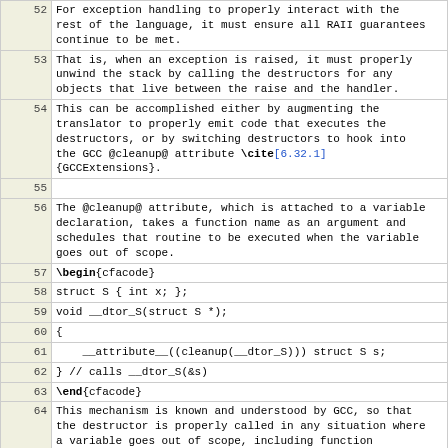| line | content |
| --- | --- |
| 52 | For exception handling to properly interact with the rest of the language, it must ensure all RAII guarantees continue to be met. |
| 53 | That is, when an exception is raised, it must properly unwind the stack by calling the destructors for any objects that live between the raise and the handler. |
| 54 | This can be accomplished either by augmenting the translator to properly emit code that executes the destructors, or by switching destructors to hook into the GCC @cleanup@ attribute \cite[6.32.1]{GCCExtensions}. |
| 55 |  |
| 56 | The @cleanup@ attribute, which is attached to a variable declaration, takes a function name as an argument and schedules that routine to be executed when the variable goes out of scope. |
| 57 | \begin{cfacode} |
| 58 | struct S { int x; }; |
| 59 | void __dtor_S(struct S *); |
| 60 | { |
| 61 |   __attribute__((cleanup(__dtor_S))) struct S s; |
| 62 | } // calls __dtor_S(&s) |
| 63 | \end{cfacode} |
| 64 | This mechanism is known and understood by GCC, so that the destructor is properly called in any situation where a variable goes out of scope, including function returns, branches, and built-in GCC exception handling mechanisms using libunwind. |
| 65 |  |
| 66 | A caveat of this approach is that the @cleanup@ attribute only permits a function that consumes a single argument of type @T *@ for a variable of type @T@. |
| 67 | This restriction means that any destructor that consumes multiple arguments (\eg, because it is polymorphic) or any destructor that is a function pointer (\eg, because it is an assertion parameter) must be called through a |